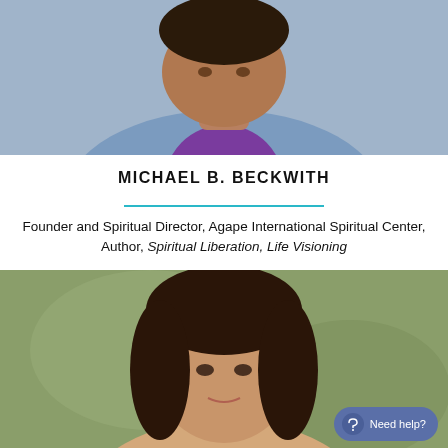[Figure (photo): Headshot photo of Michael B. Beckwith, a man wearing a blue jacket and purple shirt]
MICHAEL B. BECKWITH
Founder and Spiritual Director, Agape International Spiritual Center, Author, Spiritual Liberation, Life Visioning
[Figure (photo): Headshot photo of a woman with long brown hair against a blurred outdoor background. A 'Need help?' button is visible in the bottom right corner.]